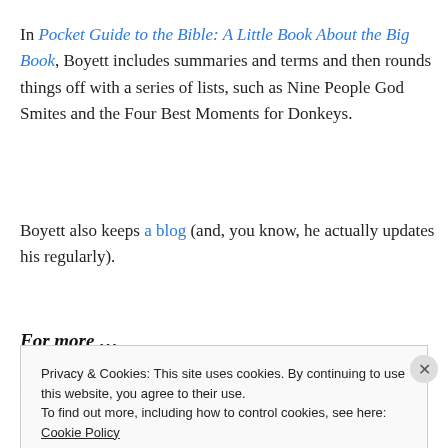In Pocket Guide to the Bible: A Little Book About the Big Book, Boyett includes summaries and terms and then rounds things off with a series of lists, such as Nine People God Smites and the Four Best Moments for Donkeys.
Boyett also keeps a blog (and, you know, he actually updates his regularly).
For more …
Pocket Guide info
Privacy & Cookies: This site uses cookies. By continuing to use this website, you agree to their use.
To find out more, including how to control cookies, see here: Cookie Policy
Close and accept